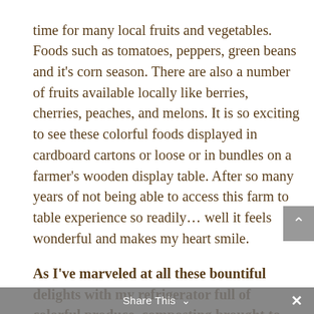time for many local fruits and vegetables. Foods such as tomatoes, peppers, green beans and it's corn season. There are also a number of fruits available locally like berries, cherries, peaches, and melons. It is so exciting to see these colorful foods displayed in cardboard cartons or loose or in bundles on a farmer's wooden display table. After so many years of not being able to access this farm to table experience so readily… well it feels wonderful and makes my heart smile.
As I've marveled at all these bountiful delights with my refrigerator full of colorful produce, composting brought to mind an old writing metaphor. I came upon the concept of 'composting' in regard to writing in a Natalie Goldberg book. She's a writer who has written many books on writing and bringing oneself to the page, basically putting pen to paper and just
Share This ∨  ×